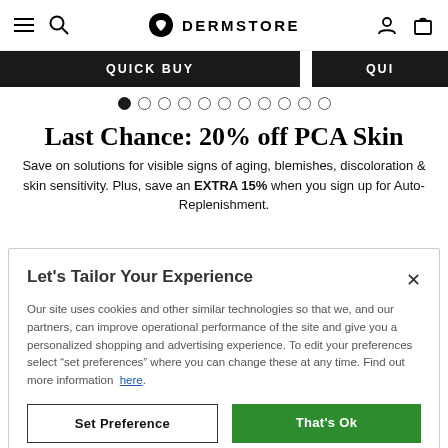DERMSTORE
[Figure (screenshot): Quick Buy dark banner buttons across the top of a product carousel]
[Figure (infographic): Carousel pagination dots: 11 dots, first one filled/active]
Last Chance: 20% off PCA Skin
Save on solutions for visible signs of aging, blemishes, discoloration & skin sensitivity. Plus, save an EXTRA 15% when you sign up for Auto-Replenishment.
Let's Tailor Your Experience
Our site uses cookies and other similar technologies so that we, and our partners, can improve operational performance of the site and give you a personalized shopping and advertising experience. To edit your preferences select "set preferences" where you can change these at any time. Find out more information here.
Set Preference
That's Ok